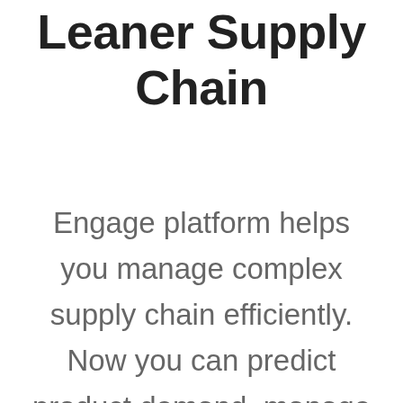Leaner Supply Chain
Engage platform helps you manage complex supply chain efficiently. Now you can predict product demand, manage warehouse inventory, complete order fulfillment and